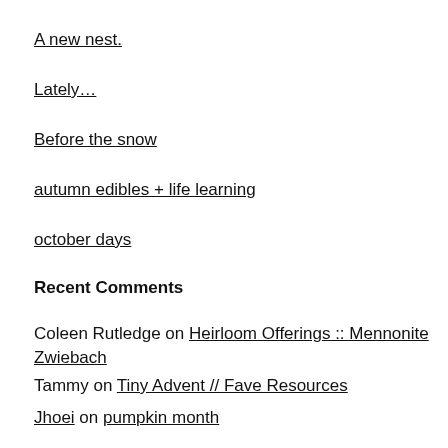A new nest.
Lately…
Before the snow
autumn edibles + life learning
october days
Recent Comments
Coleen Rutledge on Heirloom Offerings :: Mennonite Zwiebach
Tammy on Tiny Advent // Fave Resources
Jhoei on pumpkin month
Pat Allen on A new nest.
kris on About